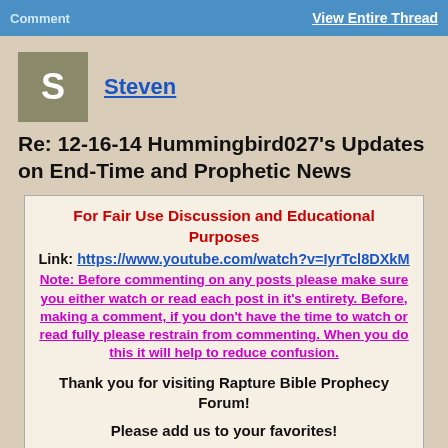Comment | View Entire Thread
[Figure (other): User avatar square with letter S in olive/tan color]
Steven
Re: 12-16-14 Hummingbird027's Updates on End-Time and Prophetic News
For Fair Use Discussion and Educational Purposes
Link: https://www.youtube.com/watch?v=IyrTcl8DXkM
Note: Before commenting on any posts please make sure you either watch or read each post in it's entirety. Before, making a comment, if you don't have the time to watch or read fully please restrain from commenting. When you do this it will help to reduce confusion.

Thank you for visiting Rapture Bible Prophecy Forum!

Please add us to your favorites!